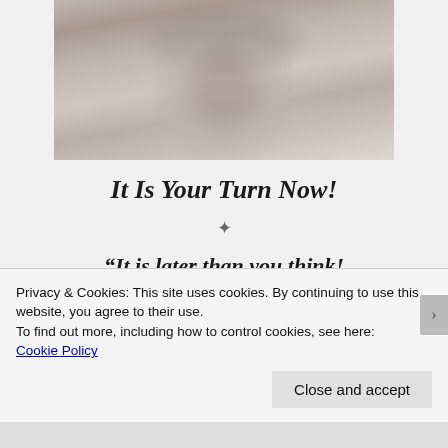[Figure (photo): A person wearing a light gray/beige oversized coat or sweatshirt, holding something close to their chest, standing outdoors. Close-up shot showing mostly torso and hands.]
It Is Your Turn Now!
❊
“It is later than you think! Hasten, therefore, to do the work of God.”
Privacy & Cookies: This site uses cookies. By continuing to use this website, you agree to their use.
To find out more, including how to control cookies, see here: Cookie Policy
Close and accept